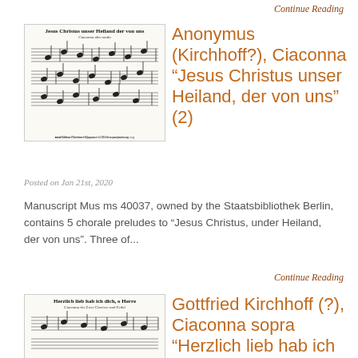Continue Reading
[Figure (photo): Sheet music image titled 'Jesus Christus unser Heiland der von uns', Ciaconna alto modo, with musical notation on multiple staves]
Anonymus (Kirchhoff?), Ciaconna "Jesus Christus unser Heiland, der von uns" (2)
Posted on Jan 21st, 2020
Manuscript Mus ms 40037, owned by the Staatsbibliothek Berlin, contains 5 chorale preludes to "Jesus Christus, under Heiland, der von uns". Three of...
Continue Reading
[Figure (photo): Sheet music image titled 'Herzlich lieb hab ich dich, o Herr', Ciaconna für Zwei Claviere und Pedal, with musical notation]
Gottfried Kirchhoff (?), Ciaconna sopra "Herzlich lieb hab ich dich..."